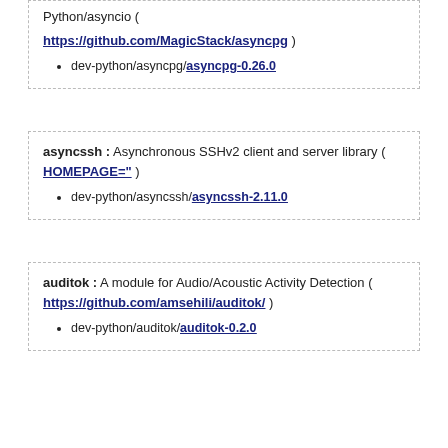Python/asyncio (
https://github.com/MagicStack/asyncpg )
dev-python/asyncpg/asyncpg-0.26.0
asyncssh : Asynchronous SSHv2 client and server library ( HOMEPAGE="" )
dev-python/asyncssh/asyncssh-2.11.0
auditok : A module for Audio/Acoustic Activity Detection ( https://github.com/amsehili/auditok/ )
dev-python/auditok/auditok-0.2.0